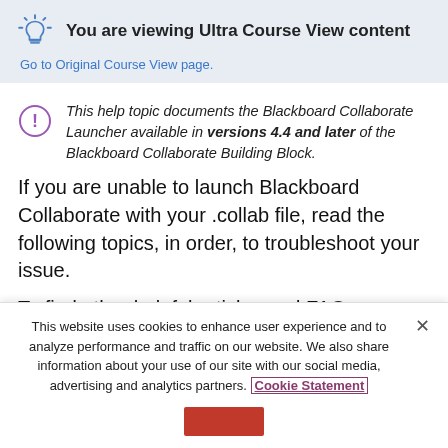You are viewing Ultra Course View content
Go to Original Course View page.
This help topic documents the Blackboard Collaborate Launcher available in versions 4.4 and later of the Blackboard Collaborate Building Block.
If you are unable to launch Blackboard Collaborate with your .collab file, read the following topics, in order, to troubleshoot your issue.
To find other helpful articles and FAQs
This website uses cookies to enhance user experience and to analyze performance and traffic on our website. We also share information about your use of our site with our social media, advertising and analytics partners. Cookie Statement